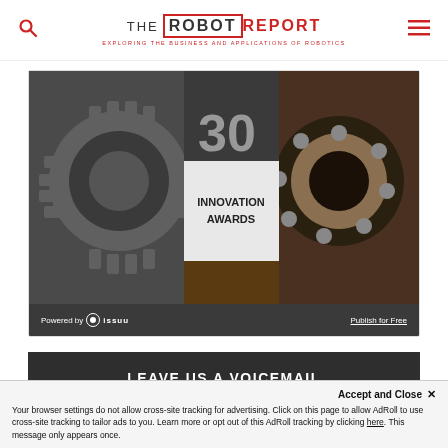THE ROBOT REPORT — EXPLORING THE BUSINESS AND APPLICATIONS OF ROBOTICS
[Figure (screenshot): Issuu embedded publication showing '30 Innovation Awards' with gears and bearing imagery on dark background. Footer shows 'Powered by issuu' and 'Publish for Free'.]
LEAVE US A VOICEMAIL
Accept and Close ✕
Your browser settings do not allow cross-site tracking for advertising. Click on this page to allow AdRoll to use cross-site tracking to tailor ads to you. Learn more or opt out of this AdRoll tracking by clicking here. This message only appears once.